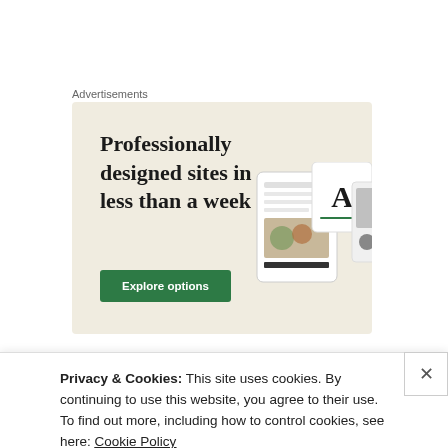Advertisements
[Figure (screenshot): Advertisement banner with beige background showing text 'Professionally designed sites in less than a week' with a green 'Explore options' button and mockup website screenshots on the right side.]
Meanwhile it seems left-leaning United fans have
Privacy & Cookies: This site uses cookies. By continuing to use this website, you agree to their use.
To find out more, including how to control cookies, see here: Cookie Policy
Close and accept